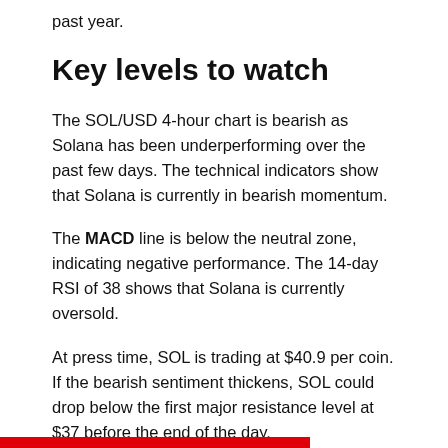past year.
Key levels to watch
The SOL/USD 4-hour chart is bearish as Solana has been underperforming over the past few days. The technical indicators show that Solana is currently in bearish momentum.
The MACD line is below the neutral zone, indicating negative performance. The 14-day RSI of 38 shows that Solana is currently oversold.
At press time, SOL is trading at $40.9 per coin. If the bearish sentiment thickens, SOL could drop below the first major resistance level at $37 before the end of the day.